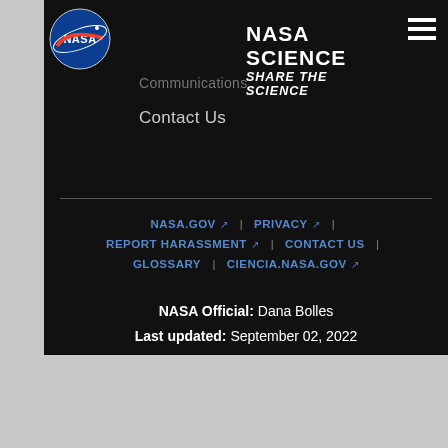[Figure (logo): NASA meatball logo - circular logo with NASA text and stylized orbit]
NASA SCIENCE
SHARE THE SCIENCE
Communications
Contact Us
NASA.GOV | PRIVACY | REPORT HARASSMENT | CONTACT US | GLOSSARY | CIENCIA.NASA.GOV
NASA Official: Dana Bolles
Last updated: September 02, 2022